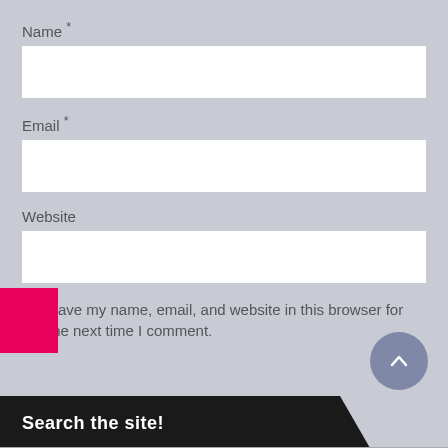Name *
Email *
Website
Save my name, email, and website in this browser for the next time I comment.
[Figure (screenshot): Pink/magenta colored block on the left edge]
[Figure (other): Gray circular scroll-to-top button with upward chevron arrow]
Search the site!